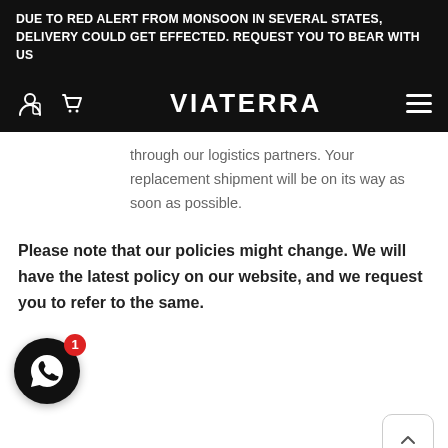DUE TO RED ALERT FROM MONSOON IN SEVERAL STATES, DELIVERY COULD GET EFFECTED. REQUEST YOU TO BEAR WITH US
[Figure (logo): VIATERRA brand navigation bar with account icon, cart icon, logo text 'VIATERRA', and hamburger menu]
through our logistics partners. Your replacement shipment will be on its way as soon as possible.
Please note that our policies might change. We will have the latest policy on our website, and we request you to refer to the same.
[Figure (illustration): WhatsApp chat button (black circle with WhatsApp logo) with a red notification badge showing '1']